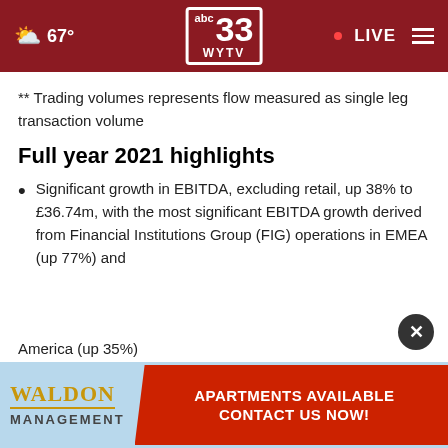67° | ABC 33 WYTV | LIVE
** Trading volumes represents flow measured as single leg transaction volume
Full year 2021 highlights
Significant growth in EBITDA, excluding retail, up 38% to £36.74m, with the most significant EBITDA growth derived from Financial Institutions Group (FIG) operations in EMEA (up 77%) and
[Figure (screenshot): Waldon Management advertisement banner: apartments available, contact us now]
America (up 35%)